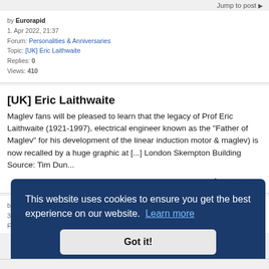Jump to post ▶
by Eurorapid
1. Apr 2022, 21:37
Forum: Personalities & Anniversaries
Topic: [UK] Eric Laithwaite
Replies: 0
Views: 410
[UK] Eric Laithwaite
Maglev fans will be pleased to learn that the legacy of Prof Eric Laithwaite (1921-1997), electrical engineer known as the "Father of Maglev" for his development of the linear induction motor & maglev) is now recalled by a huge graphic at [...] London Skempton Building Source: Tim Dun...
Jump to post ▶
by Eurorapid
30. Mar 2022, 11:04
Forum: Shanghai Transrapid (EMS High Speed Maglev)
This website uses cookies to ensure you get the best experience on our website. Learn more
Got it!